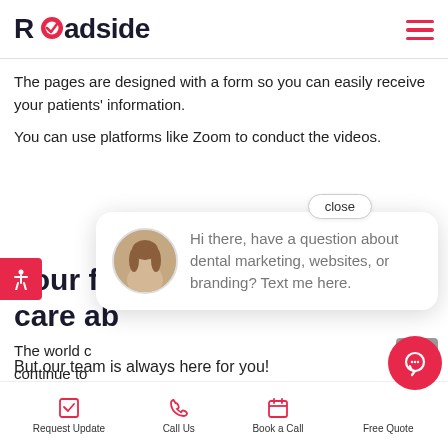Roadside
The pages are designed with a form so you can easily receive your patients' information.
You can use platforms like Zoom to conduct the videos.
[Figure (screenshot): Chat popup overlay with avatar photo and message: Hi there, have a question about dental marketing, websites, or branding? Text me here. With a close button.]
Your fr... care ab...
The world c... continue to...
But our team is always here for you!
Request Update  Call Us  Book a Call  Free Quote